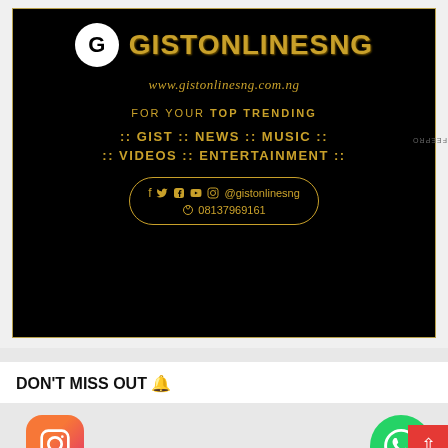[Figure (logo): GistOnlinesNG promotional banner on black background with gold text. Shows logo (G in white circle), brand name GISTONLINESNG, website www.gistonlinesng.com.ng, tagline FOR YOUR TOP TRENDING, categories GIST NEWS MUSIC VIDEOS ENTERTAINMENT, and social media pill with f, twitter, YouTube, Instagram icons, @gistonlinesng, and phone 08137969161.]
DON'T MISS OUT 🔔
[Figure (illustration): Instagram orange rounded-square button icon on the left, WhatsApp green circle button on the right, red up-arrow scroll-to-top button. GetButton labels beneath each social button.]